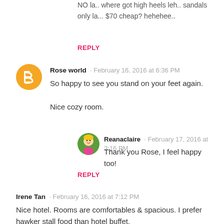NO la.. where got high heels leh.. sandals only la... $70 cheap? hehehee..
REPLY
Rose world · February 16, 2016 at 6:36 PM
So happy to see you stand on your feet again.

Nice cozy room.
Reanaclaire · February 17, 2016 at 3:16 PM
Thank you Rose, I feel happy too!
REPLY
Irene Tan · February 16, 2016 at 7:12 PM
Nice hotel. Rooms are comfortables & spacious. I prefer hawker stall food than hotel buffet.